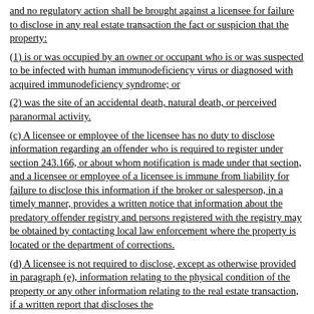and no regulatory action shall be brought against a licensee for failure to disclose in any real estate transaction the fact or suspicion that the property:
(1) is or was occupied by an owner or occupant who is or was suspected to be infected with human immunodeficiency virus or diagnosed with acquired immunodeficiency syndrome; or
(2) was the site of an accidental death, natural death, or perceived paranormal activity.
(c) A licensee or employee of the licensee has no duty to disclose information regarding an offender who is required to register under section 243.166, or about whom notification is made under that section, and a licensee or employee of a licensee is immune from liability for failure to disclose this information if the broker or salesperson, in a timely manner, provides a written notice that information about the predatory offender registry and persons registered with the registry may be obtained by contacting local law enforcement where the property is located or the department of corrections.
(d) A licensee is not required to disclose, except as otherwise provided in paragraph (e), information relating to the physical condition of the property or any other information relating to the real estate transaction, if a written report that discloses the